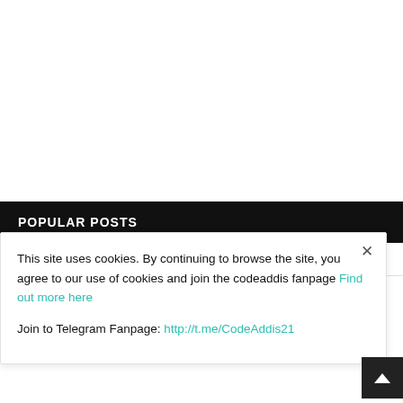POPULAR POSTS
This Week
This Month
This Year
May God Listen to the Prayer of Ethiopians, and the intellectuals...
This site uses cookies. By continuing to browse the site, you agree to our use of cookies and join the codeaddis fanpage Find out more here
Join to Telegram Fanpage: http://t.me/CodeAddis21
Orphan: First Kill (2022) [WEBRip] [2160p]